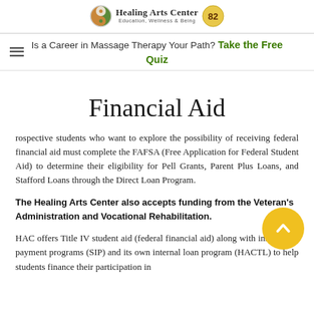Healing Arts Center — Education, Wellness & Being
Is a Career in Massage Therapy Your Path? Take the Free Quiz
Financial Aid
rospective students who want to explore the possibility of receiving federal financial aid must complete the FAFSA (Free Application for Federal Student Aid) to determine their eligibility for Pell Grants, Parent Plus Loans, and Stafford Loans through the Direct Loan Program.
The Healing Arts Center also accepts funding from the Veteran's Administration and Vocational Rehabilitation.
HAC offers Title IV student aid (federal financial aid) along with installment payment programs (SIP) and its own internal loan program (HACTL) to help students finance their participation in